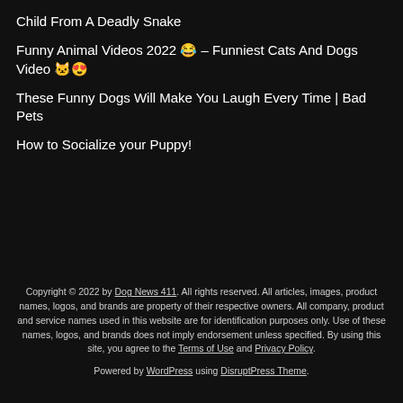Child From A Deadly Snake
Funny Animal Videos 2022 😂 – Funniest Cats And Dogs Video 🐱😍
These Funny Dogs Will Make You Laugh Every Time | Bad Pets
How to Socialize your Puppy!
Copyright © 2022 by Dog News 411. All rights reserved. All articles, images, product names, logos, and brands are property of their respective owners. All company, product and service names used in this website are for identification purposes only. Use of these names, logos, and brands does not imply endorsement unless specified. By using this site, you agree to the Terms of Use and Privacy Policy.
Powered by WordPress using DisruptPress Theme.